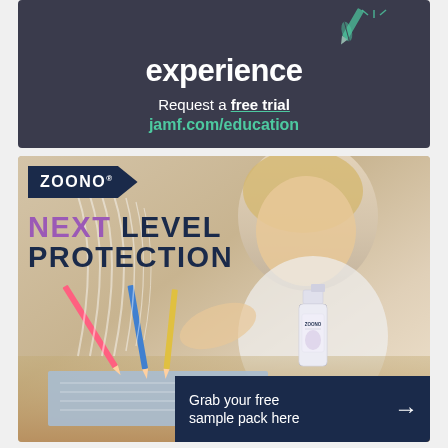[Figure (illustration): Dark charcoal/navy advertisement banner for JAMF education technology. Shows text 'experience' in white bold, with decorative pencil icons in teal. Below reads 'Request a free trial' and 'jamf.com/education' in teal.]
experience
Request a free trial
jamf.com/education
[Figure (photo): Advertisement for Zoono product. Shows a young blonde child writing at a desk with pencils and a notebook. Features Zoono logo badge in navy, text 'NEXT LEVEL PROTECTION' with NEXT in purple and rest in navy. A Zoono spray bottle product is visible. Bottom right dark navy bar reads 'Grab your free sample pack here' with a right arrow.]
ZOONO®
NEXT LEVEL PROTECTION
Grab your free sample pack here →